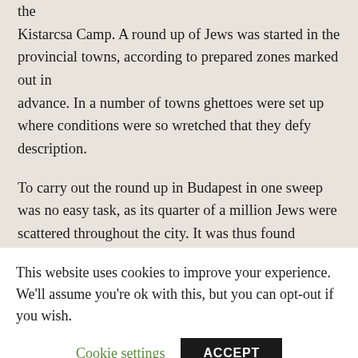the Kistarcsa Camp. A round up of Jews was started in the provincial towns, according to prepared zones marked out in advance. In a number of towns ghettoes were set up where conditions were so wretched that they defy description.

To carry out the round up in Budapest in one sweep was no easy task, as its quarter of a million Jews were scattered throughout the city. It was thus found necessary to operate in stages, the houses in which Jews were ordered to live being marked with a large yellow sign.
This website uses cookies to improve your experience. We'll assume you're ok with this, but you can opt-out if you wish.